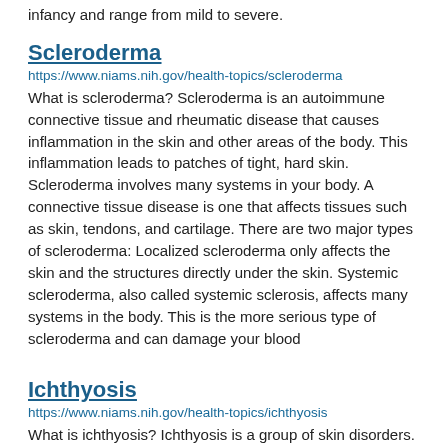infancy and range from mild to severe.
Scleroderma
https://www.niams.nih.gov/health-topics/scleroderma
What is scleroderma? Scleroderma is an autoimmune connective tissue and rheumatic disease that causes inflammation in the skin and other areas of the body. This inflammation leads to patches of tight, hard skin. Scleroderma involves many systems in your body. A connective tissue disease is one that affects tissues such as skin, tendons, and cartilage. There are two major types of scleroderma: Localized scleroderma only affects the skin and the structures directly under the skin. Systemic scleroderma, also called systemic sclerosis, affects many systems in the body. This is the more serious type of scleroderma and can damage your blood
Ichthyosis
https://www.niams.nih.gov/health-topics/ichthyosis
What is ichthyosis? Ichthyosis is a group of skin disorders. It leads to dry, itchy skin that appears scaly, rough, and red. The symptoms can range from mild to severe. Ichthyosis can affect only the skin, but sometimes the disease can affect internal organs, too.